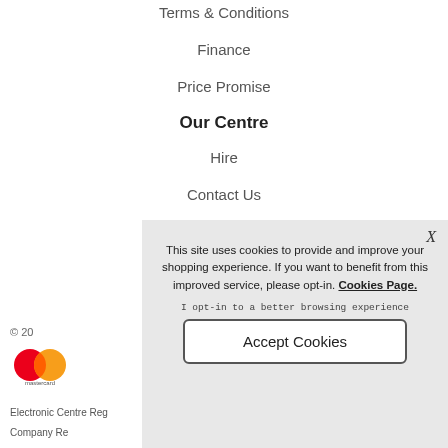Terms & Conditions
Finance
Price Promise
Our Centre
Hire
Contact Us
About Us
© 20
[Figure (logo): Mastercard logo with red and orange overlapping circles]
Electronic Centre Reg
Company Re
This site uses cookies to provide and improve your shopping experience. If you want to benefit from this improved service, please opt-in. Cookies Page.
I opt-in to a better browsing experience
Accept Cookies